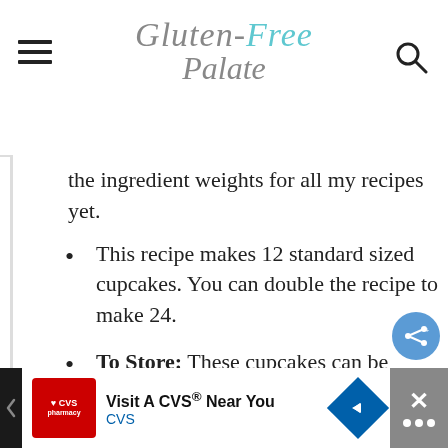Gluten-Free Palate
the ingredient weights for all my recipes yet.
This recipe makes 12 standard sized cupcakes. You can double the recipe to make 24.
To Store: These cupcakes can be stored in a covered container at room temperature for up to 3 days. You can also store them in the fridge if you prefer, but you'll want to let them come to room temperature so that the frosting softens before serving.
[Figure (other): CVS pharmacy advertisement banner: 'Visit A CVS Near You' with CVS logo and navigation arrow icon]